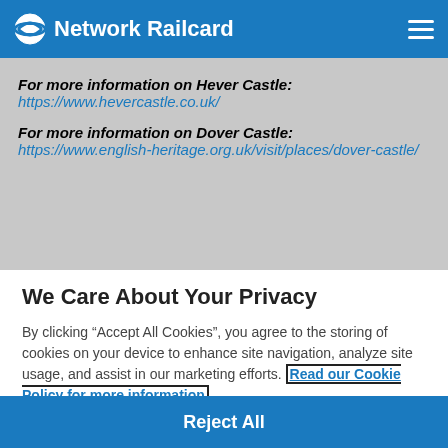Network Railcard
For more information on Hever Castle: https://www.hevercastle.co.uk/
For more information on Dover Castle: https://www.english-heritage.org.uk/visit/places/dover-castle/
We Care About Your Privacy
By clicking “Accept All Cookies”, you agree to the storing of cookies on your device to enhance site navigation, analyze site usage, and assist in our marketing efforts. Read our Cookie Policy for more information
Cookie Settings
Reject All